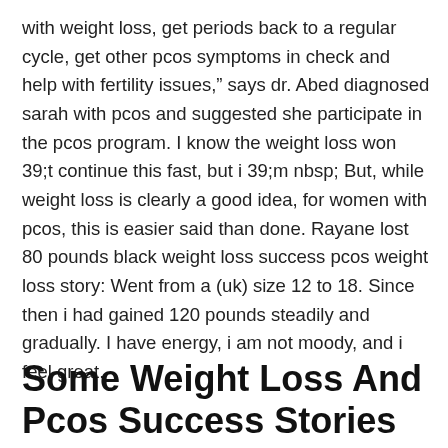with weight loss, get periods back to a regular cycle, get other pcos symptoms in check and help with fertility issues," says dr. Abed diagnosed sarah with pcos and suggested she participate in the pcos program. I know the weight loss won 39;t continue this fast, but i 39;m nbsp; But, while weight loss is clearly a good idea, for women with pcos, this is easier said than done. Rayane lost 80 pounds black weight loss success pcos weight loss story: Went from a (uk) size 12 to 18. Since then i had gained 120 pounds steadily and gradually. I have energy, i am not moody, and i feel great.
Some Weight Loss And Pcos Success Stories information